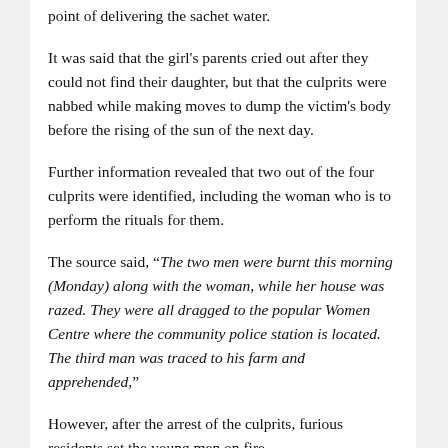point of delivering the sachet water.
It was said that the girl's parents cried out after they could not find their daughter, but that the culprits were nabbed while making moves to dump the victim's body before the rising of the sun of the next day.
Further information revealed that two out of the four culprits were identified, including the woman who is to perform the rituals for them.
The source said, “The two men were burnt this morning (Monday) along with the woman, while her house was razed. They were all dragged to the popular Women Centre where the community police station is located. The third man was traced to his farm and apprehended,”
However, after the arrest of the culprits, furious residents set the young men on fire.
Meanwhile, a confirmation from the state Police Public Relations Officer, Mr Chidi Nwabuzor, mentioned that only